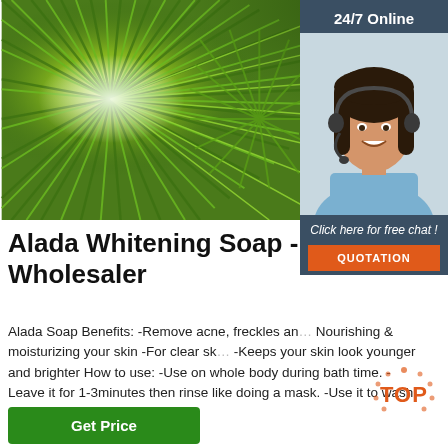[Figure (photo): Close-up photo of bright green spiky plant foliage with sunlight.]
[Figure (photo): Customer service representative woman with headset, smiling. Panel with '24/7 Online' header, 'Click here for free chat!' text, and orange QUOTATION button.]
Alada Whitening Soap - Tha... Wholesaler
Alada Soap Benefits: -Remove acne, freckles an... Nourishing & moisturizing your skin -For clear sk... -Keeps your skin look younger and brighter How to use: -Use on whole body during bath time. -Leave it for 1-3minutes then rinse like doing a mask. -Use it to wash your face every day and
[Figure (other): Green 'Get Price' button at bottom left. Orange 'TOP' logo watermark at bottom right.]